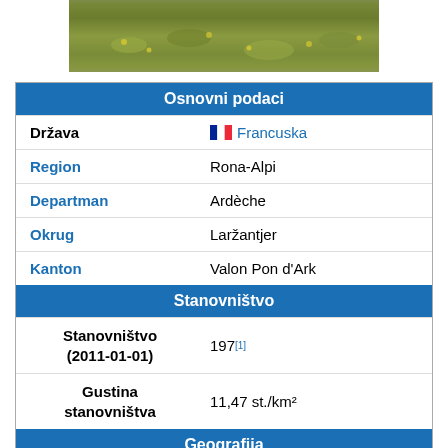[Figure (photo): Aerial or landscape photo showing a grassy field or meadow with yellow wildflowers, green vegetation]
| Osnovni podaci |
| --- |
| Država | Francuska |
| Region | Rona-Alpi |
| Departman | Ardèche |
| Okrug | Laržantjer |
| Kanton | Valon Pon d'Ark |
| Stanovništvo |  |
| Stanovništvo (2011-01-01) | 197[1] |
| Gustina stanovništva | 11,47 st./km² |
| Geografija |  |
| Koordinate | 44°20′44″N 4°18′11″E / 44.345555555556°N |